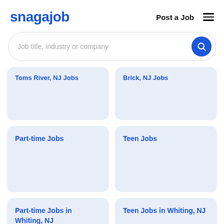snagajob — Post a Job
[Figure (screenshot): Search bar with placeholder 'Job title, industry or company' and a blue circle search button]
Toms River, NJ Jobs (partially visible, cropped)
Brick, NJ Jobs (partially visible, cropped)
Part-time Jobs
Teen Jobs
Part-time Jobs in Whiting, NJ
Teen Jobs in Whiting, NJ